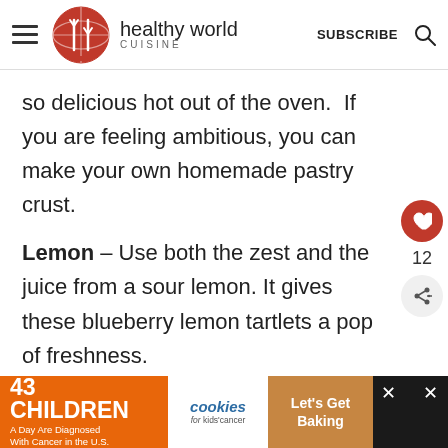healthy world cuisine — SUBSCRIBE
so delicious hot out of the oven.  If you are feeling ambitious, you can make your own homemade pastry crust.
Lemon – Use both the zest and the juice from a sour lemon. It gives these blueberry lemon tartlets a pop of freshness.
Cinnamon – We know that might seem
[Figure (infographic): Bottom advertisement banner: 43 Children A Day Are Diagnosed With Cancer in the U.S. | cookies for kids cancer | Let's Get Baking]